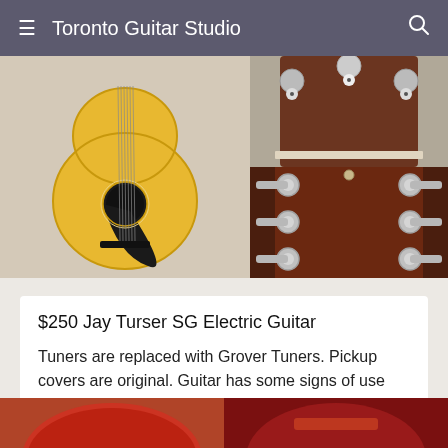Toronto Guitar Studio
[Figure (photo): Acoustic guitar body (yellow/natural finish) resting on a beige couch]
[Figure (photo): Close-up of guitar headstock top portion]
[Figure (photo): Close-up of guitar headstock with Grover tuners on dark brown/rosewood headplate]
$250 Jay Turser SG Electric Guitar
Tuners are replaced with Grover Tuners. Pickup covers are original. Guitar has some signs of use but do not affect playability.
[Figure (photo): Partial view of red electric guitar body (bottom strip)]
[Figure (photo): Partial view of red electric guitar detail (bottom strip right)]